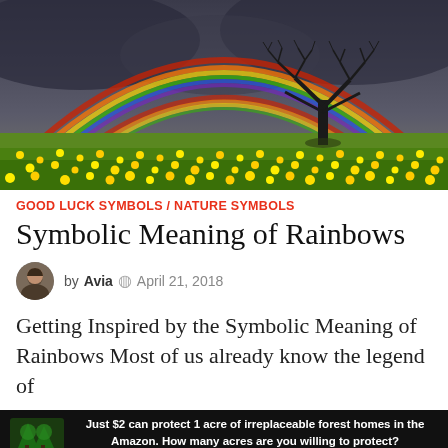[Figure (photo): Dramatic landscape photograph showing a double rainbow arching over a field of yellow dandelions with a single bare tree silhouetted against a stormy grey sky]
GOOD LUCK SYMBOLS / NATURE SYMBOLS
Symbolic Meaning of Rainbows
by Avia  April 21, 2018
Getting Inspired by the Symbolic Meaning of Rainbows Most of us already know the legend of
[Figure (infographic): Advertisement banner: dark background with forest image on left, text 'Just $2 can protect 1 acre of irreplaceable forest homes in the Amazon. How many acres are you willing to protect?' with green 'PROTECT FORESTS NOW' button]